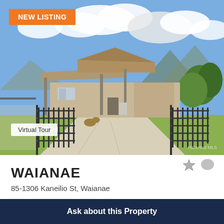[Figure (photo): Exterior photo of a single-story tan/beige house with carport, concrete driveway, black metal fence gate, green lawn, mountains and blue sky with clouds in background. NEW LISTING badge in orange top-left, Virtual Tour label bottom-left.]
WAIANAE
85-1306 Kaneilio St, Waianae
$570,000 - 4 Beds, 2.00 Baths, 1,801 Sf
MLS® # 202216863
Ask about this Property